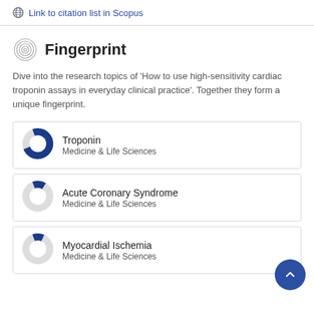Link to citation list in Scopus
Fingerprint
Dive into the research topics of 'How to use high-sensitivity cardiac troponin assays in everyday clinical practice'. Together they form a unique fingerprint.
Troponin — Medicine & Life Sciences
Acute Coronary Syndrome — Medicine & Life Sciences
Myocardial Ischemia — Medicine & Life Sciences